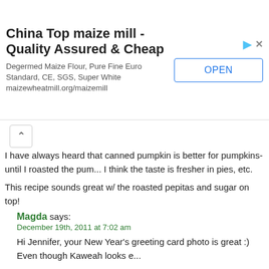[Figure (other): Advertisement banner for China Top maize mill with OPEN button]
I have always heard that canned pumpkin is better for pumpkins- until I roasted the pum... I think the taste is fresher in pies, etc.
This recipe sounds great w/ the roasted pepitas and sugar on top!
Magda says: December 19th, 2011 at 7:02 am
Hi Jennifer, your New Year's greeting card photo is great :) Even though Kaweah looks e...
I have never made a cake with pumpkin before yet this one grabbed my attention. I hop... touch.
Friends like your friend Lisa are the best; persuading us to try things we never thought w...
Melissa @ Baking For The Boys says: December 19th, 2011 at 7:45 am
Pumpkin bread has been the most requested sweet this holiday season in my house. L... the sparkling of sugar and pepitas on top.